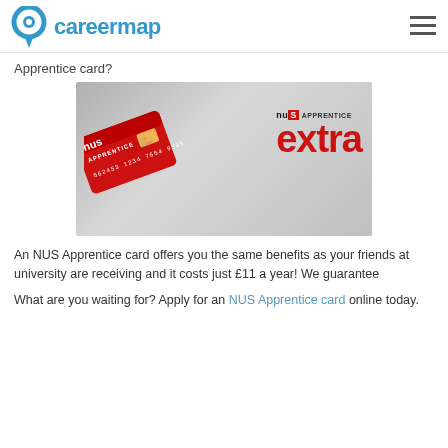careermap
Apprentice card?
[Figure (photo): NUS Apprentice Extra card promotional image showing a red NUS Apprentice card alongside the 'nus APPRENTICE extra' logo text on a grey background]
An NUS Apprentice card offers you the same benefits as your friends at university are receiving and it costs just £11 a year! We guarantee
What are you waiting for? Apply for an NUS Apprentice card online today.